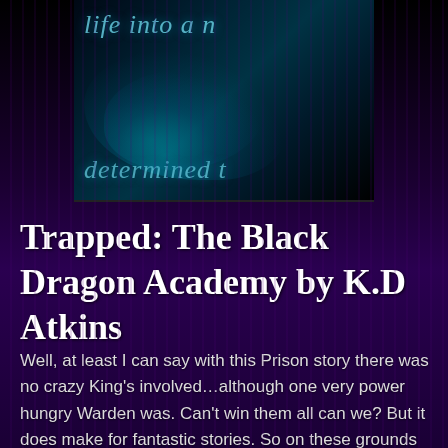[Figure (illustration): Book cover image with dark teal/navy background, blue smoke or mist swirling at the bottom left, and italic text in teal reading 'life into a n...' on the top line and 'determined t' on a lower line. The cover has a dark, fantasy aesthetic.]
Trapped: The Black Dragon Academy by K.D Atkins
Well, at least I can say with this Prison story there was no crazy King's involved…although one very power hungry Warden was. Can't win them all can we? But it does make for fantastic stories. So on these grounds